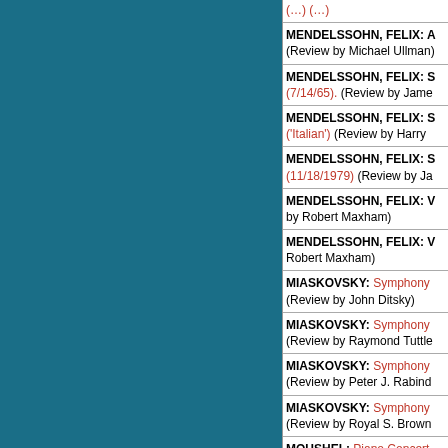(…) (…)
MENDELSSOHN, FELIX: A… (Review by Michael Ullman)
MENDELSSOHN, FELIX: S… (7/14/65). (Review by James…
MENDELSSOHN, FELIX: S… ('Italian') (Review by Harry…
MENDELSSOHN, FELIX: S… (11/18/1979) (Review by Ja…
MENDELSSOHN, FELIX: V… by Robert Maxham)
MENDELSSOHN, FELIX: V… Robert Maxham)
MIASKOVSKY: Symphony… (Review by John Ditsky)
MIASKOVSKY: Symphony… (Review by Raymond Tuttle…
MIASKOVSKY: Symphony… (Review by Peter J. Rabind…
MIASKOVSKY: Symphony… (Review by Royal S. Brown…
MOUSHEL: Piano Concert… Fogel)
MOZART: Concerto No. 27… Orchestra, K. 595 (Review…